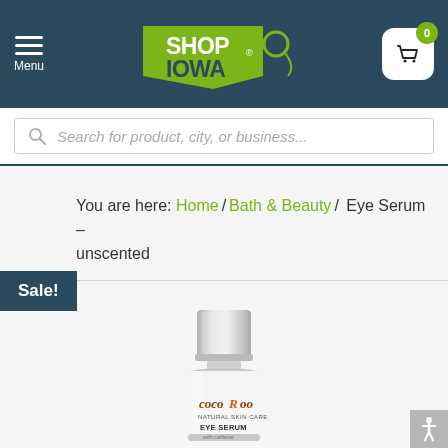Shop Iowa – Menu, Logo, Cart
Search for product, city, or business...
You are here: Home / Bath & Beauty / Eye Serum – unscented
Sale!
[Figure (photo): CocoRoo Natural Skin Care Eye Serum with caffeine in a silver pump bottle]
[Figure (other): Accessibility icon in bottom right corner]